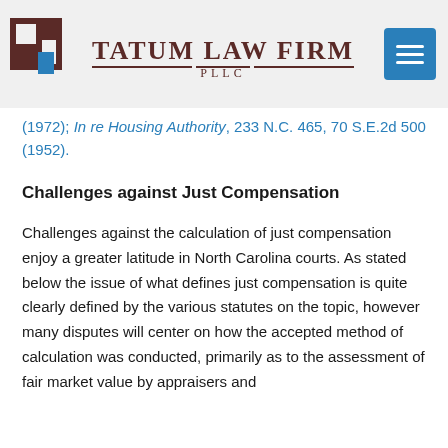Tatum Law Firm PLLC
(1972); In re Housing Authority, 233 N.C. 465, 70 S.E.2d 500 (1952).
Challenges against Just Compensation
Challenges against the calculation of just compensation enjoy a greater latitude in North Carolina courts. As stated below the issue of what defines just compensation is quite clearly defined by the various statutes on the topic, however many disputes will center on how the accepted method of calculation was conducted, primarily as to the assessment of fair market value by appraisers and